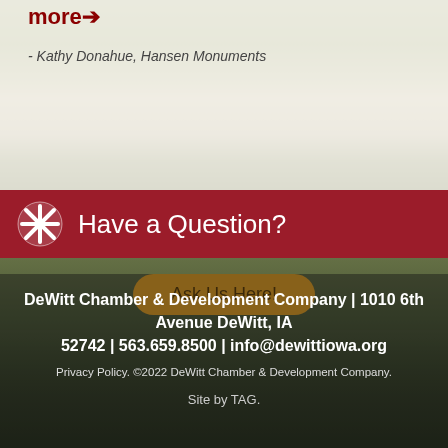more→
- Kathy Donahue, Hansen Monuments
Have a Question?
Ask Us Here!
[Figure (photo): Exterior photo of the DeWitt Chamber & Development Company building with a sign in front, surrounded by lawn and trees in autumn.]
DeWitt Chamber & Development Company | 1010 6th Avenue DeWitt, IA 52742 | 563.659.8500 | info@dewittiowa.org
Privacy Policy. ©2022 DeWitt Chamber & Development Company.
Site by TAG.